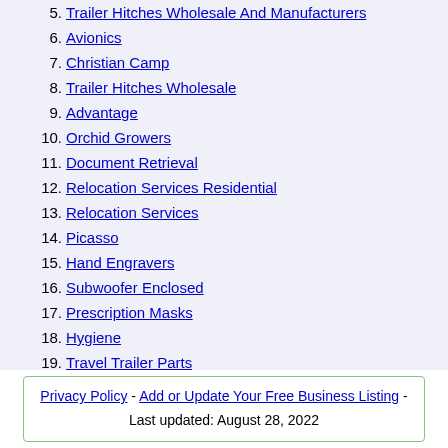5. Trailer Hitches Wholesale And Manufacturers
6. Avionics
7. Christian Camp
8. Trailer Hitches Wholesale
9. Advantage
10. Orchid Growers
11. Document Retrieval
12. Relocation Services Residential
13. Relocation Services
14. Picasso
15. Hand Engravers
16. Subwoofer Enclosed
17. Prescription Masks
18. Hygiene
19. Travel Trailer Parts
20. Watts James Atty
Privacy Policy - Add or Update Your Free Business Listing - Last updated: August 28, 2022